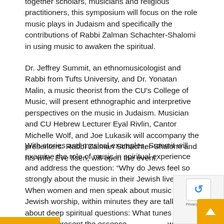together scholars, musicians and religious practitioners, this symposium will focus on the role music plays in Judaism and specifically the contributions of Rabbi Zalman Schachter-Shalomi in using music to awaken the spiritual.
Dr. Jeffrey Summit, an ethnomusicologist and Rabbi from Tufts University, and Dr. Yonatan Malin, a music theorist from the CU's College of Music, will present ethnographic and interpretive perspectives on the music in Judaism. Musician and CU Hebrew Lecturer Eyal Rivlin, Cantor Michelle Wolf, and Joe Lukasik will accompany the presenters. Rabbi Zalman Schachter-Shalomi and his wife, Eve Ilsen, will open the event.
With stories and musical examples, Summit will examine the role of music in spiritual experience and address the question: “Why do Jews feel so strongly about the music in their Jewish lives?” When women and men speak about music in Jewish worship, within minutes they are talking about deep spiritual questions: What tunes and chants represent the essence of who they are and what they believe as Jews? What music constitutes authentic practice?